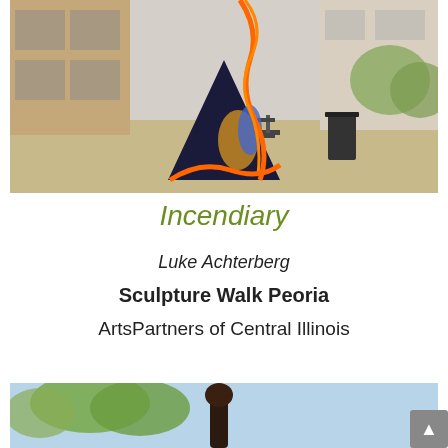[Figure (photo): Outdoor public art sculpture - a colorful triangular/flame-shaped sculpture with orange flowing elements, displayed on a city sidewalk with benches and a trash can in the background.]
Incendiary
Luke Achterberg
Sculpture Walk Peoria
ArtsPartners of Central Illinois
[Figure (photo): Partial view of another outdoor sculpture or artwork, showing what appears to be a dark figure or form against a blue sky with trees in the background.]